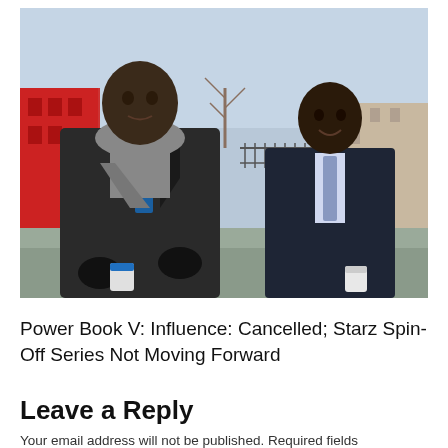[Figure (photo): Two Black men in suits standing outdoors in winter. The man on the left wears a dark coat with a grey scarf and blue tie, holding a coffee cup with black gloves. The man on the right wears a dark suit with a lavender tie and holds a coffee cup. A red building and chain-link fence are visible in the background.]
Power Book V: Influence: Cancelled; Starz Spin-Off Series Not Moving Forward
Leave a Reply
Your email address will not be published. Required fields